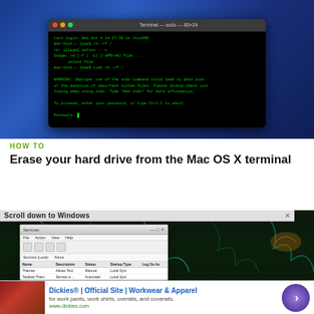[Figure (screenshot): Mac OS X desktop screenshot showing a Terminal window with sudo rm command and password prompt on a blue starfield desktop background]
HOW TO
Erase your hard drive from the Mac OS X terminal
[Figure (screenshot): Screenshot of Windows Services manager window with 'Scroll down to Windows' text bar at top, showing services list on a green lightning bolt background]
[Figure (screenshot): Advertisement banner: Dickies® | Official Site | Workwear & Apparel - for work pants, work shirts, overalls, and coveralls. www.dickies.com]